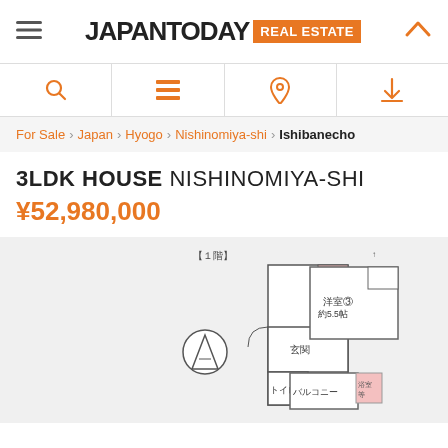JAPAN TODAY REAL ESTATE
For Sale › Japan › Hyogo › Nishinomiya-shi › Ishibanecho
3LDK HOUSE NISHINOMIYA-SHI ¥52,980,000
[Figure (engineering-diagram): Floor plan showing 1F and 2F layouts of a house. 1F includes 玄関 (entrance), トイレ (toilet), and a staircase area with triangular symbol. 2F includes 洋室③ 約5.5帖 (Western room approx 5.5 tatami), バルコニー (balcony), and additional room. Pink highlighted areas indicate wet areas/bathrooms.]